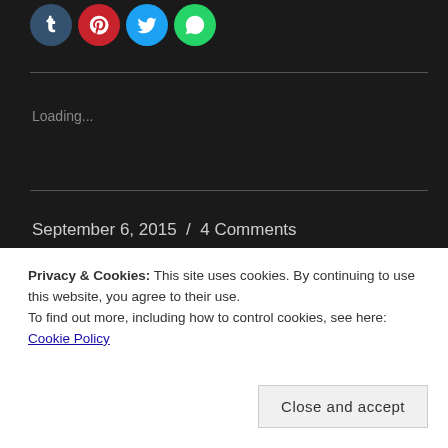[Figure (other): Social media share icons: Tumblr (dark blue), Pinterest (red), Twitter (light blue), WhatsApp (green)]
Loading...
September 6, 2015 / 4 Comments
Privacy & Cookies: This site uses cookies. By continuing to use this website, you agree to their use.
To find out more, including how to control cookies, see here: Cookie Policy
Close and accept